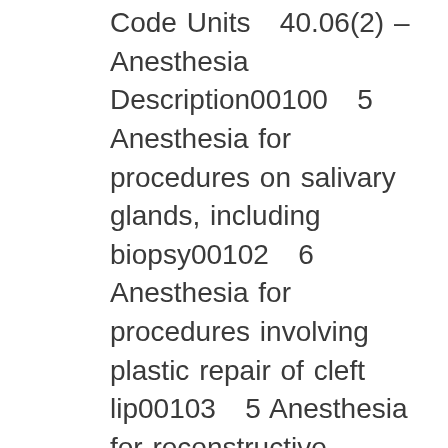Code Units   40.06(2) – Anesthesia Description00100   5 Anesthesia for procedures on salivary glands, including biopsy00102   6 Anesthesia for procedures involving plastic repair of cleft lip00103   5 Anesthesia for reconstructive procedures of eyelid (eg, blepharoplasty, ptosis surgery)00104   4  Anesthesia for electroconvulsive therapy00120   5 Anesthesia for procedures on external, middle, and inner ear including biopsy; not otherwise...